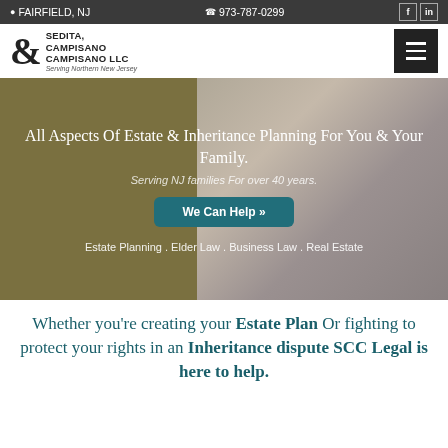FAIRFIELD, NJ  |  973-787-0299
[Figure (logo): Sedita, Campisano & Campisano LLC law firm logo with ampersand and text 'Serving Northern New Jersey']
[Figure (photo): Hero banner with family photo on right half, olive/khaki background on left half, containing headline text, subtitle, and call-to-action button]
All Aspects Of Estate & Inheritance Planning For You & Your Family.
Serving NJ families For over 40 years.
We Can Help »
Estate Planning . Elder Law . Business Law . Real Estate
Whether you're creating your Estate Plan Or fighting to protect your rights in an Inheritance dispute SCC Legal is here to help.